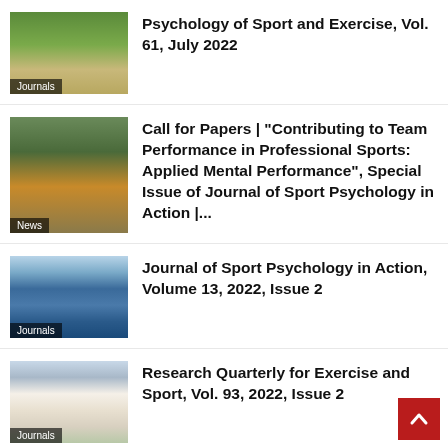[Figure (photo): Golf player on a course with yellow field background, labeled Journals]
Psychology of Sport and Exercise, Vol. 61, July 2022
[Figure (photo): Rugby players in a scrum on a field, labeled News]
Call for Papers | “Contributing to Team Performance in Professional Sports: Applied Mental Performance”, Special Issue of Journal of Sport Psychology in Action |...
[Figure (photo): Soccer players wearing masks on a field, labeled Journals]
Journal of Sport Psychology in Action, Volume 13, 2022, Issue 2
[Figure (photo): Karate athletes in white uniforms on a court, labeled Journals]
Research Quarterly for Exercise and Sport, Vol. 93, 2022, Issue 2
[Figure (photo): Partial photo at bottom of page, partially clipped]